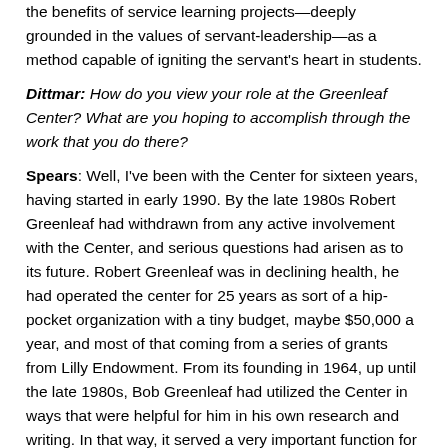the benefits of service learning projects—deeply grounded in the values of servant-leadership—as a method capable of igniting the servant's heart in students.
Dittmar: How do you view your role at the Greenleaf Center? What are you hoping to accomplish through the work that you do there?
Spears: Well, I've been with the Center for sixteen years, having started in early 1990. By the late 1980s Robert Greenleaf had withdrawn from any active involvement with the Center, and serious questions had arisen as to its future. Robert Greenleaf was in declining health, he had operated the center for 25 years as sort of a hip-pocket organization with a tiny budget, maybe $50,000 a year, and most of that coming from a series of grants from Lilly Endowment. From its founding in 1964, up until the late 1980s, Bob Greenleaf had utilized the Center in ways that were helpful for him in his own research and writing. In that way, it served a very important function for him as an organization and as a means to an end. But he had not ever really sought to develop the Center as a strong organization, and so by 198[...] the first in a series of strokes which ended his [...] the Greenleaf